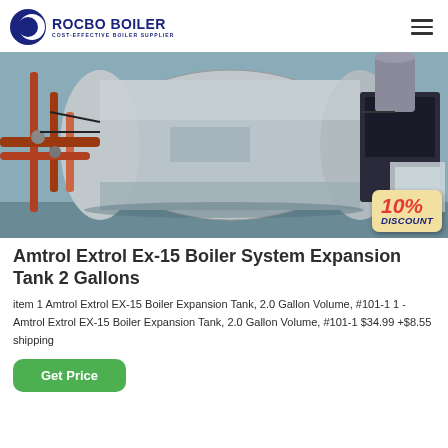[Figure (logo): Rocbo Boiler logo with crescent/circle icon and text 'ROCBO BOILER - COST-EFFECTIVE BOILER SUPPLIER']
[Figure (photo): Industrial boiler system with pipes and machinery, featuring a 10% DISCOUNT badge in the bottom right corner]
Amtrol Extrol Ex-15 Boiler System Expansion Tank 2 Gallons
item 1 Amtrol Extrol EX-15 Boiler Expansion Tank, 2.0 Gallon Volume, #101-1 1 - Amtrol Extrol EX-15 Boiler Expansion Tank, 2.0 Gallon Volume, #101-1 $34.99 +$8.55 shipping
Get Price